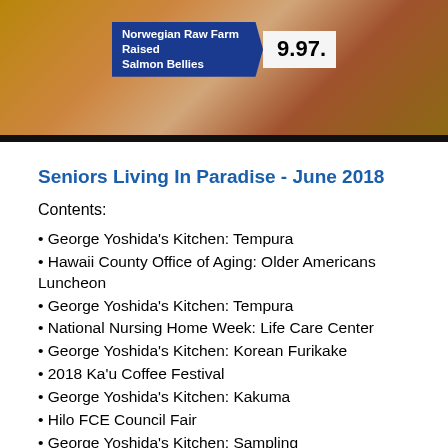[Figure (photo): Food photo showing Norwegian Raw Farm Raised Salmon Bellies on a plate, with a price label showing 9.97]
Seniors Living In Paradise - June 2018
Contents:
George Yoshida's Kitchen: Tempura
Hawaii County Office of Aging: Older Americans Luncheon
George Yoshida's Kitchen: Tempura
National Nursing Home Week: Life Care Center
George Yoshida's Kitchen: Korean Furikake
2018 Ka'u Coffee Festival
George Yoshida's Kitchen: Kakuma
Hilo FCE Council Fair
George Yoshida's Kitchen: Sampling
Salon Bliss: Cherise Okumura